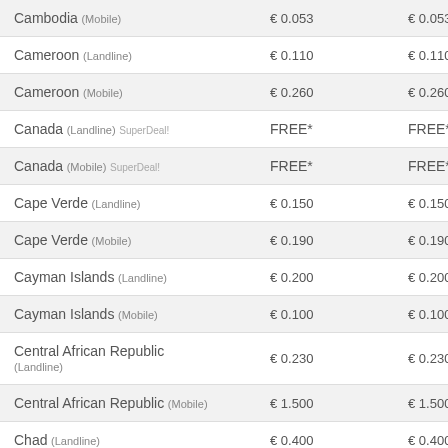| Destination | Rate | Rate |
| --- | --- | --- |
| Cambodia (Mobile) | € 0.053 | € 0.053 |
| Cameroon (Landline) | € 0.110 | € 0.110 |
| Cameroon (Mobile) | € 0.260 | € 0.260 |
| Canada (Landline) SuperDeal! | FREE* | FREE* |
| Canada (Mobile) SuperDeal! | FREE* | FREE* |
| Cape Verde (Landline) | € 0.150 | € 0.150 |
| Cape Verde (Mobile) | € 0.190 | € 0.190 |
| Cayman Islands (Landline) | € 0.200 | € 0.200 |
| Cayman Islands (Mobile) | € 0.100 | € 0.100 |
| Central African Republic (Landline) | € 0.230 | € 0.230 |
| Central African Republic (Mobile) | € 1.500 | € 1.500 |
| Chad (Landline) | € 0.400 | € 0.400 |
| Chad (Mobile) | € 0.400 | € 0.400 |
| Chile (Landline) | € 0.017 | € 0.017 |
| Chile (Mobile) | € 0.130 | € 0.130 |
| China (Landline) | € 0.010 | € 0.010 |
| China (Mobile) | € 0.010 | € 0.010 |